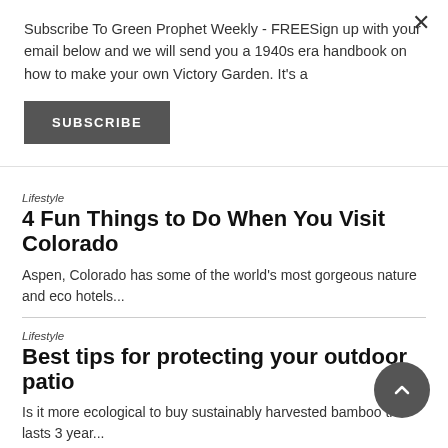Subscribe To Green Prophet Weekly - FREESign up with your email below and we will send you a 1940s era handbook on how to make your own Victory Garden. It's a
SUBSCRIBE
Lifestyle
4 Fun Things to Do When You Visit Colorado
Aspen, Colorado has some of the world's most gorgeous nature and eco hotels...
Lifestyle
Best tips for protecting your outdoor patio
Is it more ecological to buy sustainably harvested bamboo that lasts 3 year...
Home
Why is it so important to have a good boiler